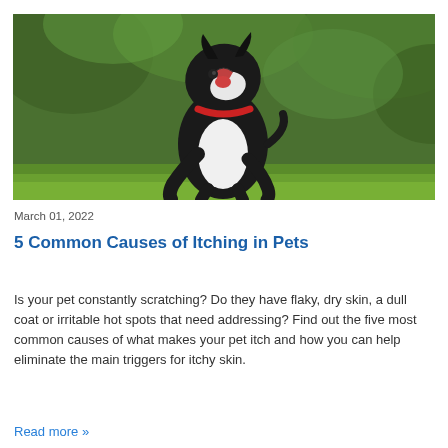[Figure (photo): A black and white dog with a red collar, scratching itself while standing on green grass outdoors. The dog's head is tilted back with mouth open.]
March 01, 2022
5 Common Causes of Itching in Pets
Is your pet constantly scratching? Do they have flaky, dry skin, a dull coat or irritable hot spots that need addressing? Find out the five most common causes of what makes your pet itch and how you can help eliminate the main triggers for itchy skin.
Read more »